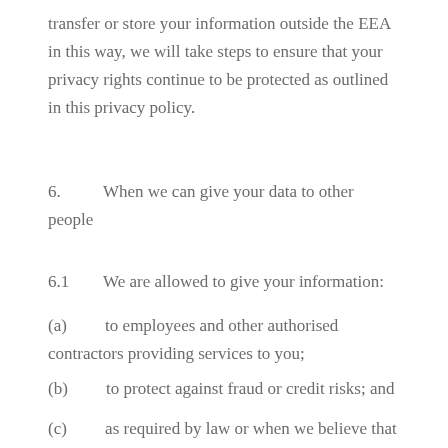transfer or store your information outside the EEA in this way, we will take steps to ensure that your privacy rights continue to be protected as outlined in this privacy policy.
6.        When we can give your data to other people
6.1        We are allowed to give your information:
(a)        to employees and other authorised contractors providing services to you;
(b)        to protect against fraud or credit risks; and
(c)        as required by law or when we believe that